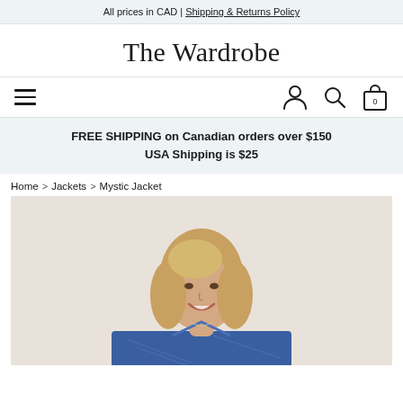All prices in CAD | Shipping & Returns Policy
The Wardrobe
FREE SHIPPING on Canadian orders over $150
USA Shipping is $25
Home > Jackets > Mystic Jacket
[Figure (photo): A smiling woman with shoulder-length wavy blonde hair wearing a blue patterned jacket, photographed against a light beige background. The photo is cropped to show her head, neck, and upper torso.]